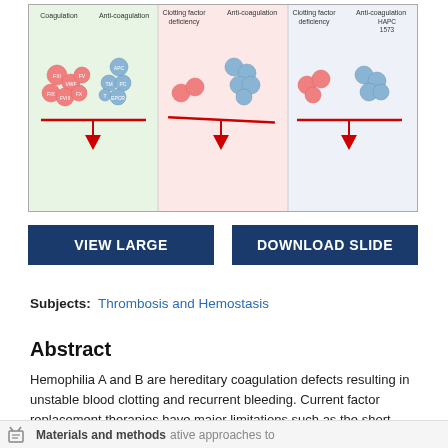[Figure (illustration): Three-panel diagram showing coagulation balance. Left panel (green): normal balance between coagulation factors (FXI, VWF, FV, FIX, FVIII, FX) and anti-coagulation factors (APC, TM, PC, T, EPCR) on a balanced scale. Middle panel (pink): clotting factor deficiency — scale tilted toward anti-coagulation side. Right panel: clotting factor deficiency with HAPC 1573 — scale balanced again.]
VIEW LARGE
DOWNLOAD SLIDE
Subjects: Thrombosis and Hemostasis
Abstract
Hemophilia A and B are hereditary coagulation defects resulting in unstable blood clotting and recurrent bleeding. Current factor replacement therapies have major limitations such as the short half-life of the factors and development of alternative approaches to
Materials and methods